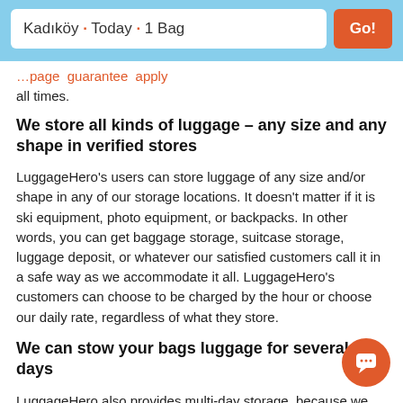Kadıköy · Today · 1 Bag  Go!
all times.
We store all kinds of luggage – any size and any shape in verified stores
LuggageHero's users can store luggage of any size and/or shape in any of our storage locations. It doesn't matter if it is ski equipment, photo equipment, or backpacks. In other words, you can get baggage storage, suitcase storage, luggage deposit, or whatever our satisfied customers call it in a safe way as we accommodate it all. LuggageHero's customers can choose to be charged by the hour or choose our daily rate, regardless of what they store.
We can stow your bags luggage for several days
LuggageHero also provides multi-day storage, because we know flexibility is essential when you travel.
LuggageHero offers a lower daily rate when you store your